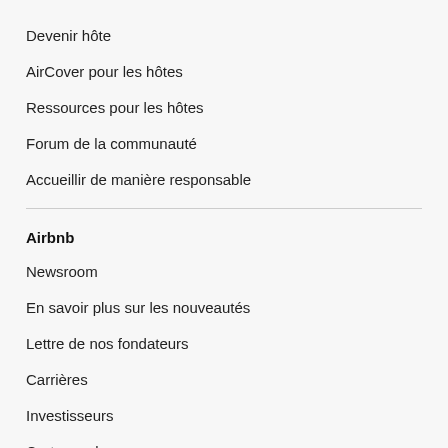Devenir hôte
AirCover pour les hôtes
Ressources pour les hôtes
Forum de la communauté
Accueillir de manière responsable
Airbnb
Newsroom
En savoir plus sur les nouveautés
Lettre de nos fondateurs
Carrières
Investisseurs
Cartes cadeaux